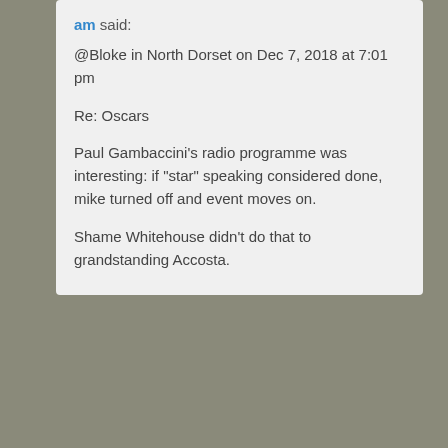am said: @Bloke in North Dorset on Dec 7, 2018 at 7:01 pm

Re: Oscars

Paul Gambaccini's radio programme was interesting: if "star" speaking considered done, mike turned off and event moves on.

Shame Whitehouse didn't do that to grandstanding Accosta.
[Figure (illustration): Default user avatar placeholder - grey silhouette of a person on grey background]
Posted December 8, 2018 at 10:50...